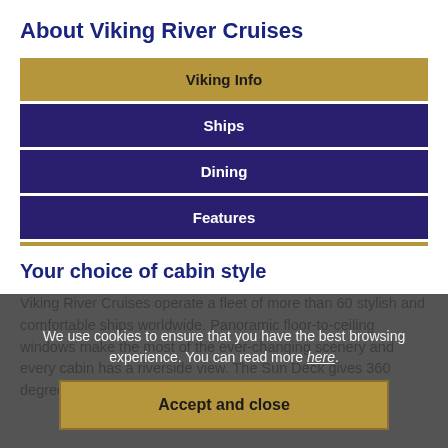About Viking River Cruises
Viking Info
Ships
Dining
Features
Your choice of cabin style
Viking River Cruises operate a fleet of more than 60 stylish and comfortable ships worldwide. Panoramic floor-to-ceiling windows make the most of the ever-changing scenery and every cabin has a riverside view. The Sun Deck gives 360 degree views of the scenery whilst the lounge al...
We use cookies to ensure that you have the best browsing experience. You can read more here.
Accept and close